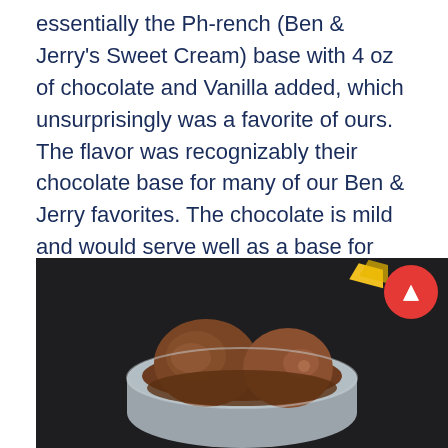essentially the Ph-rench (Ben & Jerry's Sweet Cream) base with 4 oz of chocolate and Vanilla added, which unsurprisingly was a favorite of ours. The flavor was recognizably their chocolate base for many of our Ben & Jerry favorites. The chocolate is mild and would serve well as a base for mix-ins, but may lack the intensity for a standalone chocolate ice cream. The texture was fluffy and smooth and the ice cream melted fairly quickly.
[Figure (photo): Overhead photo of a bowl of chocolate ice cream with two scoops on a dark background, with yellow candy wrappers, and a red floating action button with a triangle/play icon in the upper right corner of the image.]